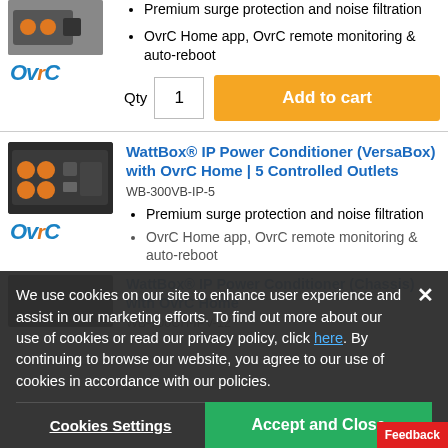[Figure (photo): Product image of WattBox device (top, partial), with OvrC logo below]
Premium surge protection and noise filtration
OvrC Home app, OvrC remote monitoring & auto-reboot
Qty 1
Add to cart
[Figure (photo): WattBox IP Power Conditioner (VersaBox) product image, dark box with orange outlets. OvrC logo below.]
WattBox® IP Power Conditioner (VersaBox) with OvrC Home | 5 Controlled Outlets
WB-300VB-IP-5
Premium surge protection and noise filtration
OvrC Home app, OvrC remote monitoring & auto-reboot
We use cookies on our site to enhance user experience and assist in our marketing efforts. To find out more about our use of cookies or read our privacy policy, click here. By continuing to browse our website, you agree to our use of cookies in accordance with our policies.
Cookies Settings
Accept and Close
WattBox® IP Power Conditioner (Chassis) with OvrC Home
WB-700CH-IPV-12
[Figure (photo): WattBox IP Power Conditioner (Chassis) product image, black box]